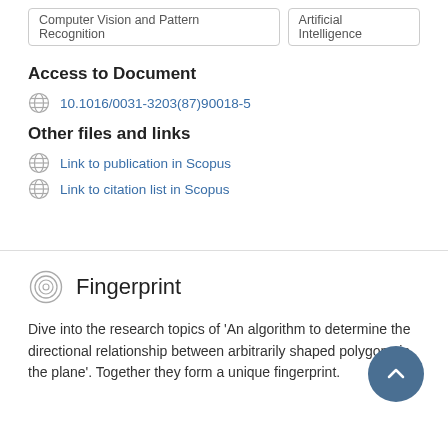Computer Vision and Pattern Recognition | Artificial Intelligence
Access to Document
10.1016/0031-3203(87)90018-5
Other files and links
Link to publication in Scopus
Link to citation list in Scopus
Fingerprint
Dive into the research topics of 'An algorithm to determine the directional relationship between arbitrarily shaped polygons in the plane'. Together they form a unique fingerprint.